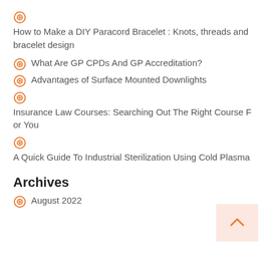How to Make a DIY Paracord Bracelet : Knots, threads and bracelet design
What Are GP CPDs And GP Accreditation?
Advantages of Surface Mounted Downlights
Insurance Law Courses: Searching Out The Right Course For You
A Quick Guide To Industrial Sterilization Using Cold Plasma
Archives
August 2022